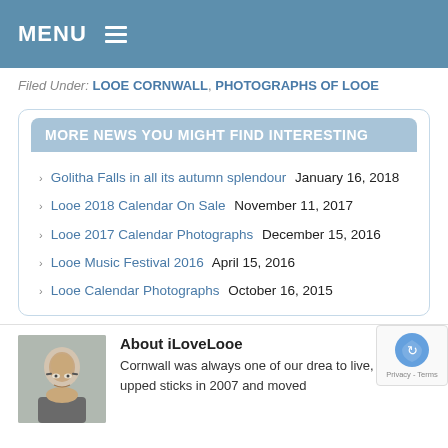MENU ≡
Filed Under: LOOE CORNWALL, PHOTOGRAPHS OF LOOE
MORE NEWS YOU MIGHT FIND INTERESTING
Golitha Falls in all its autumn splendour January 16, 2018
Looe 2018 Calendar On Sale November 11, 2017
Looe 2017 Calendar Photographs December 15, 2016
Looe Music Festival 2016 April 15, 2016
Looe Calendar Photographs October 16, 2015
About iLoveLooe
Cornwall was always one of our drea to live, so we upped sticks in 2007 and moved